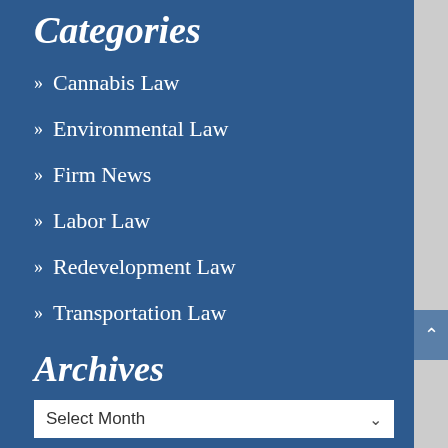Categories
» Cannabis Law
» Environmental Law
» Firm News
» Labor Law
» Redevelopment Law
» Transportation Law
Archives
Select Month
RSS Feed
Subscribe To This Blog's Feed